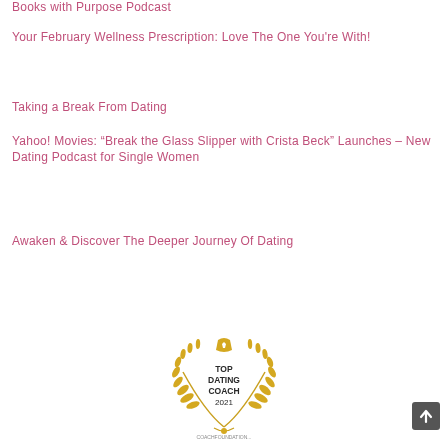Books with Purpose Podcast
Your February Wellness Prescription: Love The One You're With!
Taking a Break From Dating
Yahoo! Movies: “Break the Glass Slipper with Crista Beck” Launches – New Dating Podcast for Single Women
Awaken & Discover The Deeper Journey Of Dating
[Figure (logo): Top Dating Coach 2021 badge with laurel wreath, gold color, coachfoundation.com]